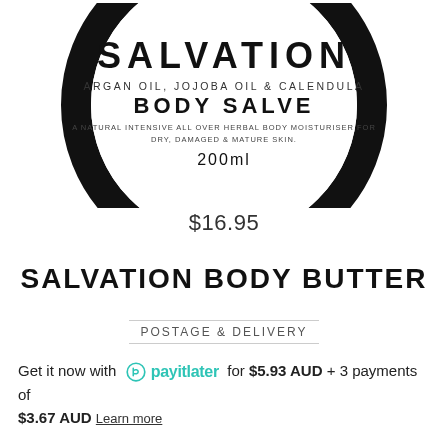[Figure (photo): Product image of Salvation Body Salve jar top label showing a circular black-rimmed label with text: SALVATION, ARGAN OIL, JOJOBA OIL & CALENDULA, BODY SALVE, A NATURAL INTENSIVE ALL OVER HERBAL BODY MOISTURISER FOR DRY, DAMAGED & MATURE SKIN, 200ml]
$16.95
SALVATION BODY BUTTER
POSTAGE & DELIVERY
Get it now with payitlater for $5.93 AUD + 3 payments of $3.67 AUD Learn more